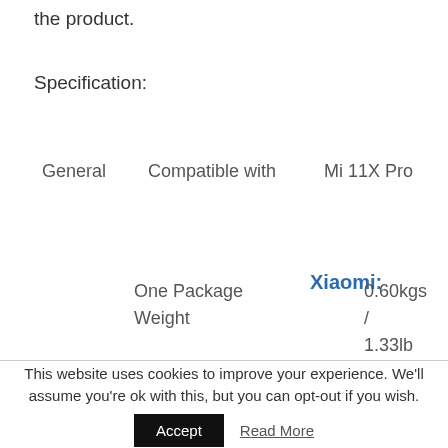the product.
Specification:
|  | Compatible with | Xiaomi: |
| --- | --- | --- |
| General | Compatible with | Mi 11X Pro |
|  | One Package Weight | 0.60kgs / 1.33lb |
This website uses cookies to improve your experience. We'll assume you're ok with this, but you can opt-out if you wish.